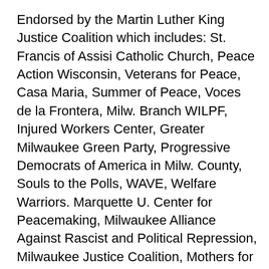Endorsed by the Martin Luther King Justice Coalition which includes: St. Francis of Assisi Catholic Church, Peace Action Wisconsin, Veterans for Peace, Casa Maria, Summer of Peace, Voces de la Frontera, Milw. Branch WILPF, Injured Workers Center, Greater Milwaukee Green Party, Progressive Democrats of America in Milw. County, Souls to the Polls, WAVE, Welfare Warriors. Marquette U. Center for Peacemaking, Milwaukee Alliance Against Rascist and Political Repression, Milwaukee Justice Coalition, Mothers for Justice United, 350 Milwaukee, Riverwest Neighborhood Ass., Vietnam Vets Against the War, Wis. Conf. of Branches NAACP, SEIU, Catholics for Peace and Justice, Rid Racism Milwaukee, We Got This, End the Wars Coalition, Poor Peoples Campaign, Milw., Wis. Coalition to Normalize Relations with Cuba, Milwaukee Temporary Center United Methodist Church,